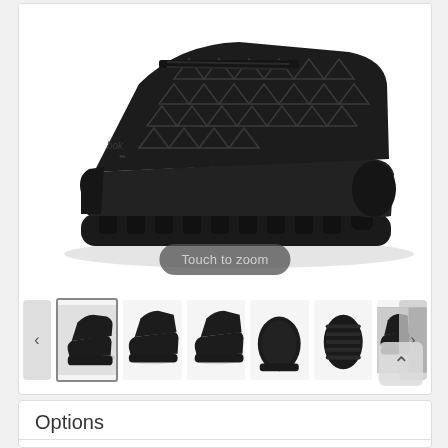[Figure (photo): Main product image of a black Reebok athletic/work shoe (sneaker) shown from a 3/4 front-left angle on white background. The shoe has a triangular mesh pattern on the upper and a chunky black sole.]
Touch to zoom
[Figure (photo): Row of 6 thumbnail images of the same black Reebok shoe from different angles: side/3-quarter view (active/selected), full side view, opposite 3/4 view, top-down angle, bottom sole view, and lifestyle/action shot.]
Options